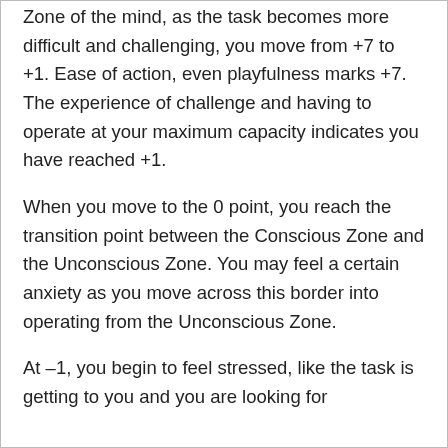Zone of the mind, as the task becomes more difficult and challenging, you move from +7 to +1. Ease of action, even playfulness marks +7. The experience of challenge and having to operate at your maximum capacity indicates you have reached +1.
When you move to the 0 point, you reach the transition point between the Conscious Zone and the Unconscious Zone. You may feel a certain anxiety as you move across this border into operating from the Unconscious Zone.
At –1, you begin to feel stressed, like the task is getting to you and you are looking for